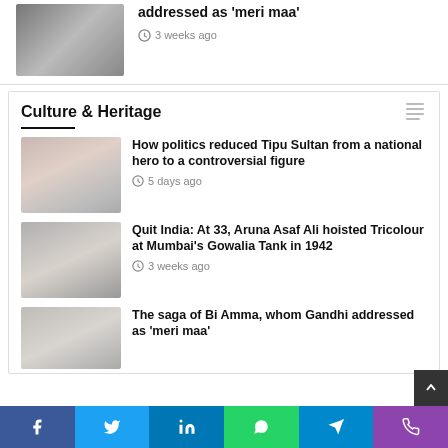[Figure (photo): Black and white photo of a person, partially visible]
addressed as ‘meri maa’
3 weeks ago
Culture & Heritage
[Figure (photo): Crowd scene photo, faded colors]
How politics reduced Tipu Sultan from a national hero to a controversial figure
5 days ago
[Figure (photo): Black and white portrait of an elderly woman]
Quit India: At 33, Aruna Asaf Ali hoisted Tricolour at Mumbai’s Gowalia Tank in 1942
3 weeks ago
[Figure (photo): Black and white photo of a person]
The saga of Bi Amma, whom Gandhi addressed as ‘meri maa’